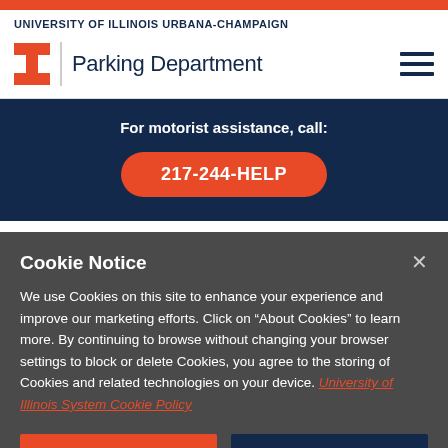UNIVERSITY OF ILLINOIS URBANA-CHAMPAIGN
Parking Department
For motorist assistance, call:
217-244-HELP
Cookie Notice
We use Cookies on this site to enhance your experience and improve our marketing efforts. Click on “About Cookies” to learn more. By continuing to browse without changing your browser settings to block or delete Cookies, you agree to the storing of Cookies and related technologies on your device. University of Illinois System Cookie Policy
About Cookies
Close this Notice